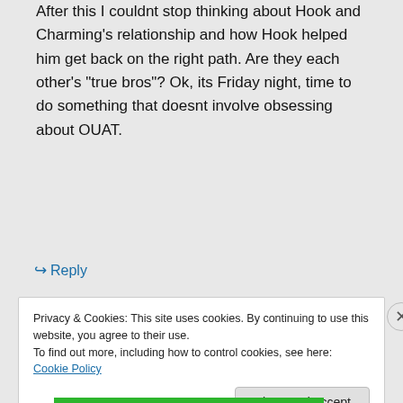After this I couldnt stop thinking about Hook and Charming's relationship and how Hook helped him get back on the right path. Are they each other's “true bros”? Ok, its Friday night, time to do something that doesnt involve obsessing about OUAT.
↪ Reply
Privacy & Cookies: This site uses cookies. By continuing to use this website, you agree to their use.
To find out more, including how to control cookies, see here: Cookie Policy